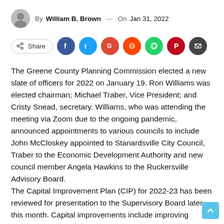By William B. Brown — On Jan 31, 2022
[Figure (infographic): Social share bar with Share button and icons for Facebook, Twitter, Google+, Reddit, WhatsApp, Pinterest, and Email]
The Greene County Planning Commission elected a new slate of officers for 2022 on January 19. Ron Williams was elected chairman; Michael Traber, Vice President; and Cristy Snead, secretary. Williams, who was attending the meeting via Zoom due to the ongoing pandemic, announced appointments to various councils to include John McCloskey appointed to Stanardsville City Council, Traber to the Economic Development Authority and new council member Angela Hawkins to the Ruckersville Advisory Board. The Capital Improvement Plan (CIP) for 2022-23 has been reviewed for presentation to the Supervisory Board later this month. Capital improvements include improving facilities or purchasing equipment for emergency services (eg generators, training facilities, ambulances); maintenance of library facilities (renovation, branch updates, and a patron safety study...